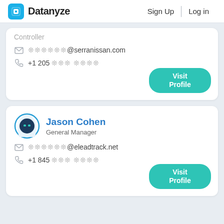Datanyze  Sign Up  Log in
Controller
✉ ••••••@serranissan.com
☎ +1 205 ••• ••••
Visit Profile
Jason Cohen
General Manager
✉ ••••••@eleadtrack.net
☎ +1 845 ••• ••••
Visit Profile